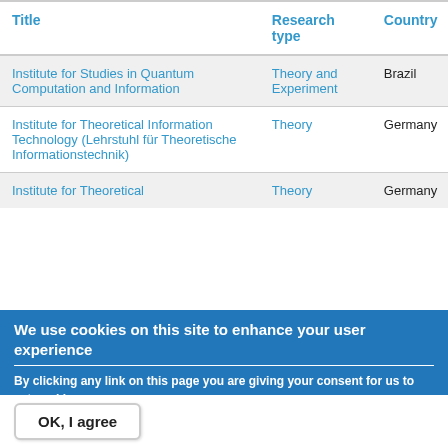| Title | Research type | Country |
| --- | --- | --- |
| Institute for Studies in Quantum Computation and Information | Theory and Experiment | Brazil |
| Institute for Theoretical Information Technology (Lehrstuhl für Theoretische Informationstechnik) | Theory | Germany |
| Institute for Theoretical | Theory | Germany |
We use cookies on this site to enhance your user experience
By clicking any link on this page you are giving your consent for us to set cookies.
No, give me more info
OK, I agree